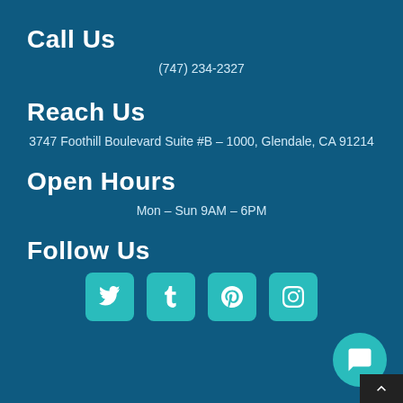Call Us
(747) 234-2327
Reach Us
3747 Foothill Boulevard Suite #B – 1000, Glendale, CA 91214
Open Hours
Mon – Sun 9AM – 6PM
Follow Us
[Figure (other): Social media icon buttons for Twitter, Tumblr, Pinterest, and Instagram in teal rounded squares]